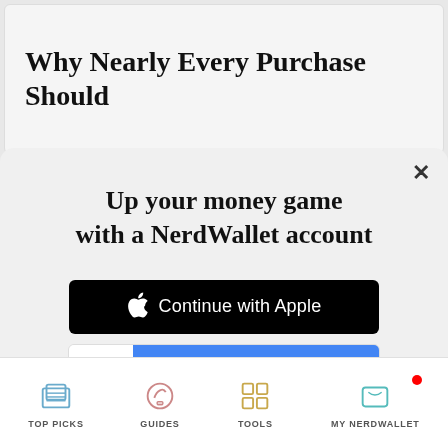Why Nearly Every Purchase Should
Up your money game with a NerdWallet account
[Figure (screenshot): Continue with Apple button - black button with Apple logo icon and white text]
[Figure (screenshot): Continue with Google button - white section with Google G logo and blue section with white text]
or continue with email
By signing up, I agree to NerdWallet's Terms of Service and Privacy Policy.
TOP PICKS | GUIDES | TOOLS | MY NERDWALLET